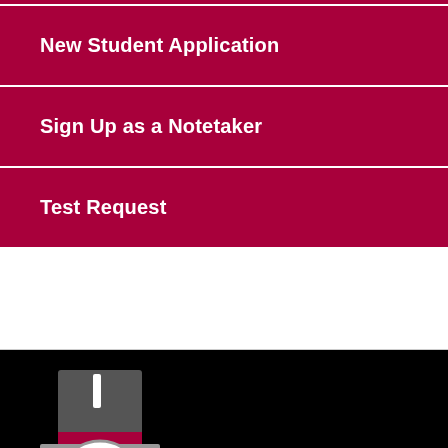New Student Application
Sign Up as a Notetaker
Test Request
[Figure (logo): Austin Peay State University mascot logo — a stylized figure wearing a top hat with a red band, white face with mustache and stern expression, on a black background]